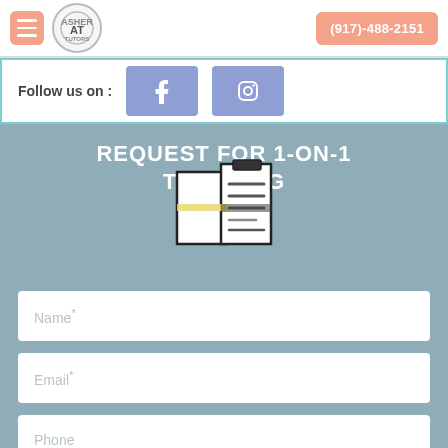(917)-488-2151
Follow us on :
[Figure (screenshot): Website screenshot of a tutoring service page with a header showing hamburger menu, logo, and phone number (917)-488-2151, social media follow section with Facebook and Instagram icons, and a contact form with fields for Name*, Email*, Phone, and Select Subject, with heading REQUEST FOR 1-ON-1 TUTORING]
REQUEST FOR 1-ON-1 TUTORING
Name*
Email*
Phone
Select Subject